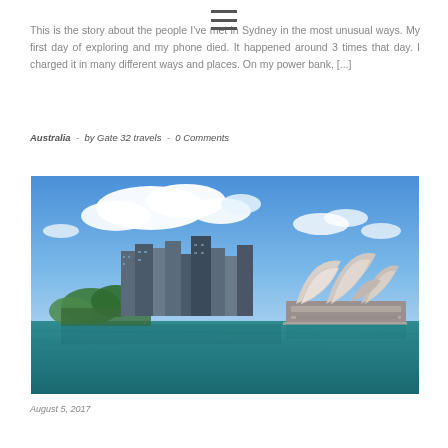This is the story about the people I've met in Sydney in the most unusual ways. My first day of exploring and my phone died. It happened around 3 times that day. I charged it in many different ways and places. On my power bank, [...]
Australia  -  by Gate 32 travels  -  0 Comments
[Figure (photo): Photograph of Sydney Harbour with the Sydney Opera House on the right and city skyline/skyscrapers on the left, taken from the water. Blue sky with white clouds. Teal-blue harbour water in the foreground.]
August 5, 2017